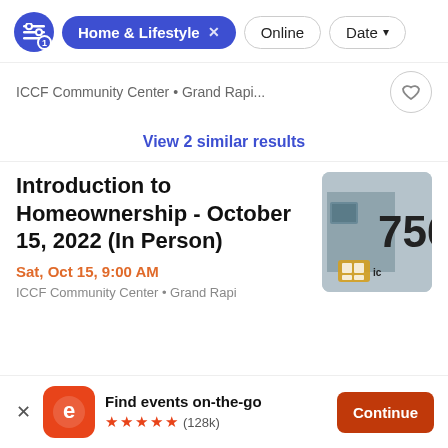[Figure (screenshot): Filter bar with blue filter icon (badge=1), active blue pill 'Home & Lifestyle x', outline pills 'Online' and 'Date ▾']
ICCF Community Center • Grand Rapi...
View 2 similar results
Introduction to Homeownership - October 15, 2022 (In Person)
Sat, Oct 15, 9:00 AM
ICCF Community Center • Grand Rapi
[Figure (photo): Partial photo showing building exterior with number 756 and ICCF logo]
Find events on-the-go ★★★★★ (128k)
Continue